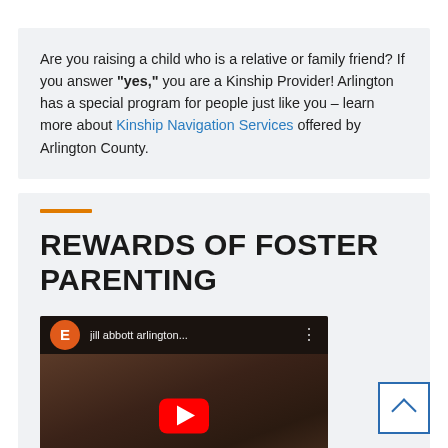Are you raising a child who is a relative or family friend? If you answer "yes," you are a Kinship Provider! Arlington has a special program for people just like you – learn more about Kinship Navigation Services offered by Arlington County.
REWARDS OF FOSTER PARENTING
[Figure (screenshot): YouTube video thumbnail showing two women smiling, with YouTube player interface including orange avatar with letter E, channel name 'jill abbott arlington...', and red play button in center.]